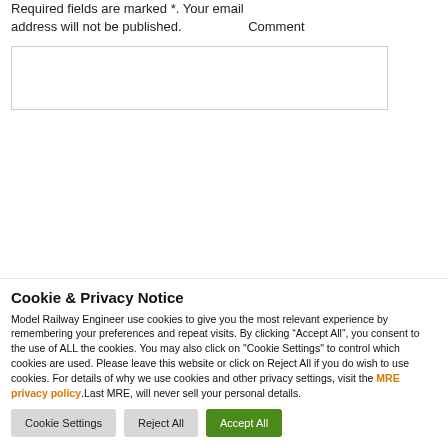Required fields are marked *. Your email address will not be published.
Comment
Cookie & Privacy Notice
Model Railway Engineer use cookies to give you the most relevant experience by remembering your preferences and repeat visits. By clicking “Accept All”, you consent to the use of ALL the cookies. You may also click on "Cookie Settings" to control which cookies are used. Please leave this website or click on Reject All if you do wish to use cookies. For details of why we use cookies and other privacy settings, visit the MRE privacy policy.Last MRE, will never sell your personal details.
Cookie Settings | Reject All | Accept All